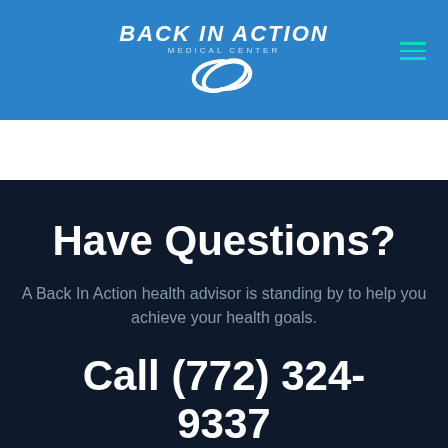[Figure (logo): Back In Action Medical Center logo with swoosh graphic, white text on blue header bar]
Have Questions?
A Back In Action health advisor is standing by to help you achieve your health goals.
Call (772) 324-9337